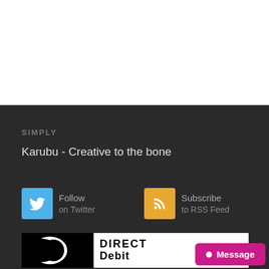SIMPLY
Karubu - Creative to the bone
[Figure (logo): Twitter Follow button with cyan/blue square icon and text 'Follow on Twitter']
[Figure (logo): RSS Subscribe button with orange square icon and text 'Subscribe to RSS Feed']
[Figure (logo): Direct Debit logo with stylized D symbol and text 'DIRECT Debit']
Message